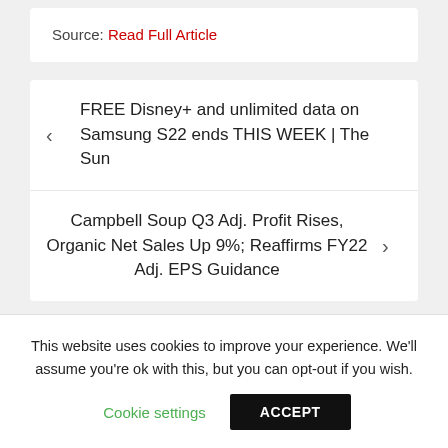Source: Read Full Article
< FREE Disney+ and unlimited data on Samsung S22 ends THIS WEEK | The Sun
Campbell Soup Q3 Adj. Profit Rises, Organic Net Sales Up 9%; Reaffirms FY22 Adj. EPS Guidance >
You may Missed
This website uses cookies to improve your experience. We'll assume you're ok with this, but you can opt-out if you wish.
Cookie settings   ACCEPT